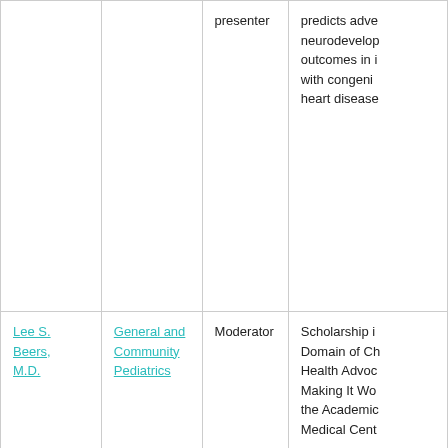| Name | Organization | Role | Description |
| --- | --- | --- | --- |
|  |  | presenter | predicts adverse neurodevelopmental outcomes in infants with congenital heart disease |
| Lee S. Beers, M.D. | General and Community Pediatrics | Moderator | Scholarship in Domain of Child Health Advocacy: Making It Work in the Academic Medical Center |
| Chaya Merrill, Dr.P.H. | Center for Translational Research | Speaker | Using data to advance advocacy in the academic medical center |
| Yuan-Chiao |  | Oral | Delayed Fetal... |